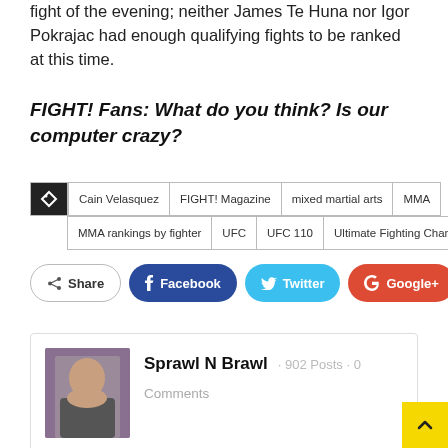fight of the evening; neither James Te Huna nor Igor Pokrajac had enough qualifying fights to be ranked at this time.
FIGHT! Fans: What do you think? Is our computer crazy?
Tags: Cain Velasquez, FIGHT! Magazine, mixed martial arts, MMA, MMA rankings by fighter, UFC, UFC 110, Ultimate Fighting Championship
Share | Facebook | Twitter | Google+ | +
Sprawl N Brawl · 902 Posts · 0 Comments